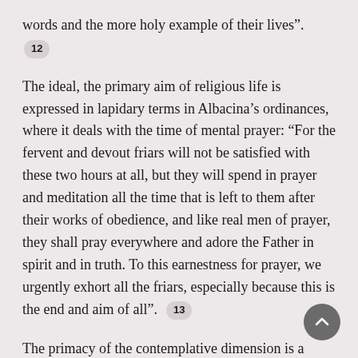words and the more holy example of their lives".
12
The ideal, the primary aim of religious life is expressed in lapidary terms in Albacina’s ordinances, where it deals with the time of mental prayer: “For the fervent and devout friars will not be satisfied with these two hours at all, but they will spend in prayer and meditation all the time that is left to them after their works of obedience, and like real men of prayer, they shall pray everywhere and adore the Father in spirit and in truth. To this earnestness for prayer, we urgently exhort all the friars, especially because this is the end and aim of all”.
13
The primacy of the contemplative dimension is a constant that runs through all the primitive